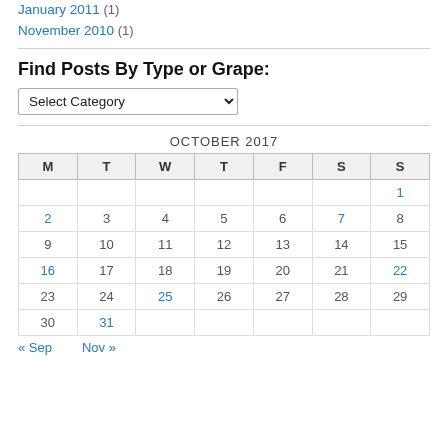January 2011 (1)
November 2010 (1)
Find Posts By Type or Grape:
Select Category (dropdown)
| M | T | W | T | F | S | S |
| --- | --- | --- | --- | --- | --- | --- |
|  |  |  |  |  |  | 1 |
| 2 | 3 | 4 | 5 | 6 | 7 | 8 |
| 9 | 10 | 11 | 12 | 13 | 14 | 15 |
| 16 | 17 | 18 | 19 | 20 | 21 | 22 |
| 23 | 24 | 25 | 26 | 27 | 28 | 29 |
| 30 | 31 |  |  |  |  |  |
« Sep   Nov »